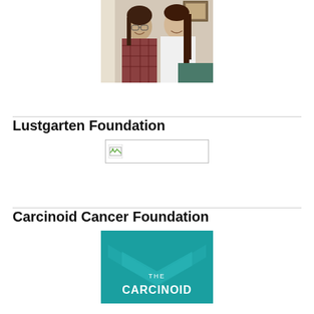[Figure (photo): Two young women smiling together in a casual indoor setting]
Lustgarten Foundation
[Figure (logo): Lustgarten Foundation logo - broken image placeholder]
Carcinoid Cancer Foundation
[Figure (logo): The Carcinoid Cancer Foundation logo with teal background and white text]